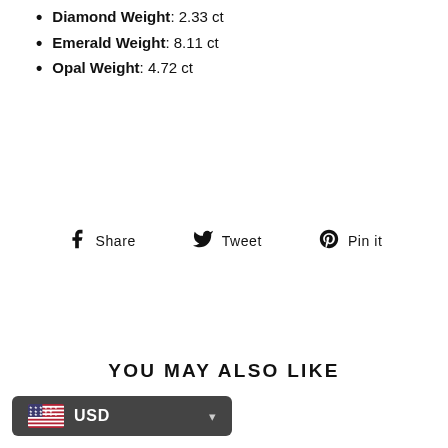Diamond Weight: 2.33 ct
Emerald Weight: 8.11 ct
Opal Weight: 4.72 ct
Share  Tweet  Pin it
YOU MAY ALSO LIKE
[Figure (infographic): USD currency selector widget with US flag and dropdown arrow, shown in dark rounded rectangle at bottom left]